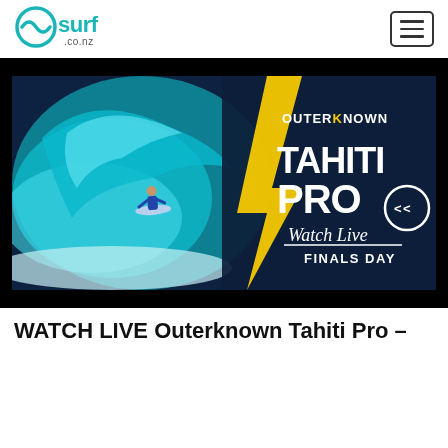[Figure (logo): surf.co.nz logo — teal wave circle icon with 'surf' text and '.co.nz' beneath]
[Figure (photo): Outerknown Tahiti Pro promotional banner. A surfer rides a massive blue barrel wave on the left. On the right, dark navy background with yellow lightning bolt graphic and large white text: OUTERKNOWN TAHITI PRO with Outerknown logo circle. Below: 'Watch Live' in italic script with underline, and 'FINALS DAY' in bold caps.]
WATCH LIVE Outerknown Tahiti Pro –